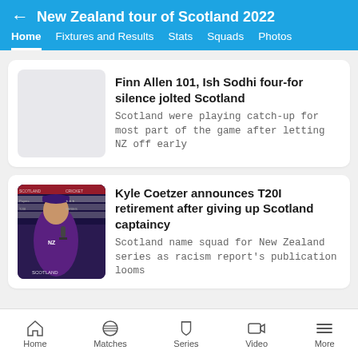New Zealand tour of Scotland 2022
Home  Fixtures and Results  Stats  Squads  Photos
Finn Allen 101, Ish Sodhi four-for silence jolted Scotland — Scotland were playing catch-up for most part of the game after letting NZ off early
Kyle Coetzer announces T20I retirement after giving up Scotland captaincy — Scotland name squad for New Zealand series as racism report's publication looms
Home  Matches  Series  Video  More